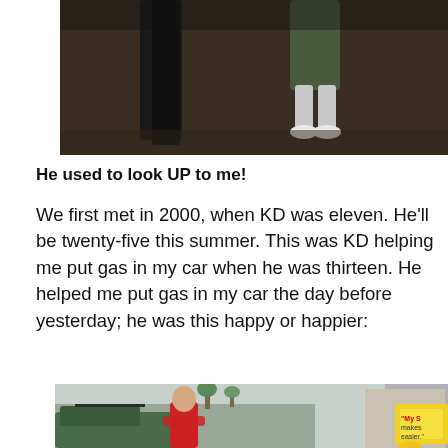[Figure (photo): Cropped bottom portion of a photo showing two people standing outdoors on dirt/gravel ground. One person wearing dark pants, the other wearing shorts with white socks visible.]
He used to look UP to me!
We first met in 2000, when KD was eleven. He'll be twenty-five this summer. This was KD helping me put gas in my car when he was thirteen. He helped me put gas in my car the day before yesterday; he was this happy or happier:
[Figure (photo): Photo of a smiling young teenager (KD) standing at a Shell gas station pump next to a green car, wearing a red Adidas jacket. Parking lot and strip mall visible in background.]